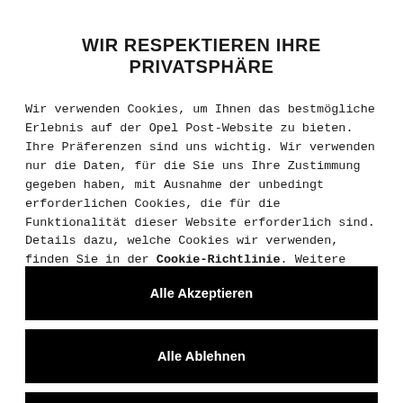WIR RESPEKTIEREN IHRE PRIVATSPHÄRE
Wir verwenden Cookies, um Ihnen das bestmögliche Erlebnis auf der Opel Post-Website zu bieten. Ihre Präferenzen sind uns wichtig. Wir verwenden nur die Daten, für die Sie uns Ihre Zustimmung gegeben haben, mit Ausnahme der unbedingt erforderlichen Cookies, die für die Funktionalität dieser Website erforderlich sind. Details dazu, welche Cookies wir verwenden, finden Sie in der Cookie-Richtlinie. Weitere Informationen zum
Alle Akzeptieren
Alle Ablehnen
Einstellungen speichern
[Figure (photo): Partial photo strip visible at the bottom of the page, appears to be a car-related image.]